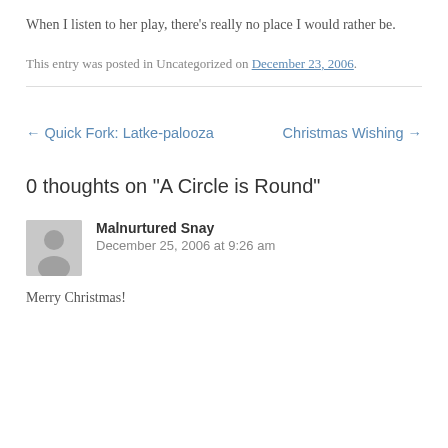When I listen to her play, there’s really no place I would rather be.
This entry was posted in Uncategorized on December 23, 2006.
← Quick Fork: Latke-palooza
Christmas Wishing →
0 thoughts on “A Circle is Round”
Malnurtured Snay
December 25, 2006 at 9:26 am
Merry Christmas!